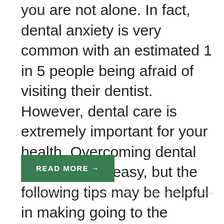you are not alone. In fact, dental anxiety is very common with an estimated 1 in 5 people being afraid of visiting their dentist. However, dental care is extremely important for your health. Overcoming dental anxiety is not easy, but the following tips may be helpful in making going to the dentist a priority while also prioritizing your mental health.
READ MORE →